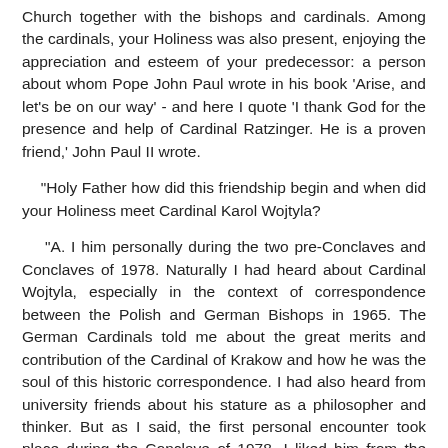Church together with the bishops and cardinals. Among the cardinals, your Holiness was also present, enjoying the appreciation and esteem of your predecessor: a person about whom Pope John Paul wrote in his book 'Arise, and let's be on our way' - and here I quote 'I thank God for the presence and help of Cardinal Ratzinger. He is a proven friend,' John Paul II wrote.
"Holy Father how did this friendship begin and when did your Holiness meet Cardinal Karol Wojtyla?
"A. I him personally during the two pre-Conclaves and Conclaves of 1978. Naturally I had heard about Cardinal Wojtyla, especially in the context of correspondence between the Polish and German Bishops in 1965. The German Cardinals told me about the great merits and contribution of the Cardinal of Krakow and how he was the soul of this historic correspondence. I had also heard from university friends about his stature as a philosopher and thinker. But as I said, the first personal encounter took place during the Conclave of 1978. I liked him from the beginning and, thanks to God, without any merit on my part, the then